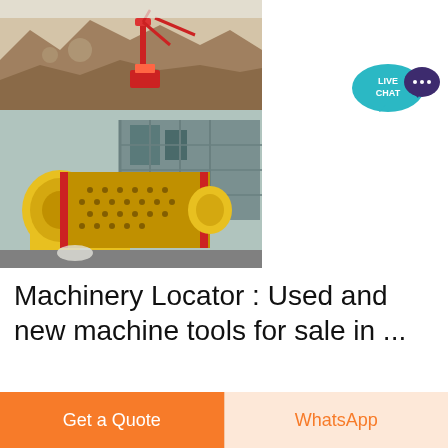[Figure (photo): Two stacked photos: top shows an open-pit quarry or mining site with a red drilling/crane machine and rocky terrain; bottom shows a large yellow ball mill or grinding machine with dotted cylindrical drum at an industrial facility.]
[Figure (illustration): Live Chat speech bubble icon: teal/turquoise bubble with 'LIVE CHAT' text and a dark purple speech bubble icon to its right.]
Machinery Locator : Used and new machine tools for sale in ...
38 used Rotary table grinding machines ( 06.02.2019)
Get a Quote
WhatsApp